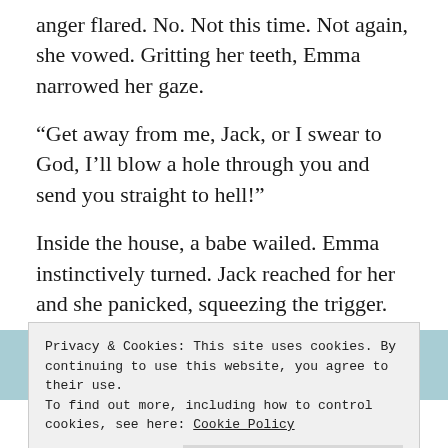anger flared. No. Not this time. Not again, she vowed. Gritting her teeth, Emma narrowed her gaze.
“Get away from me, Jack, or I swear to God, I’ll blow a hole through you and send you straight to hell!”
Inside the house, a babe wailed. Emma instinctively turned. Jack reached for her and she panicked, squeezing the trigger. The rifle exploded, throwing her backwards, pain shooting into her shoulder. But instead of falling, she found herself in Jack’s arms as they wrapped around her, shielding her back from
Privacy & Cookies: This site uses cookies. By continuing to use this website, you agree to their use. To find out more, including how to control cookies, see here: Cookie Policy
Close and accept
breathe. Her eyes were wide open. She felt the heat of